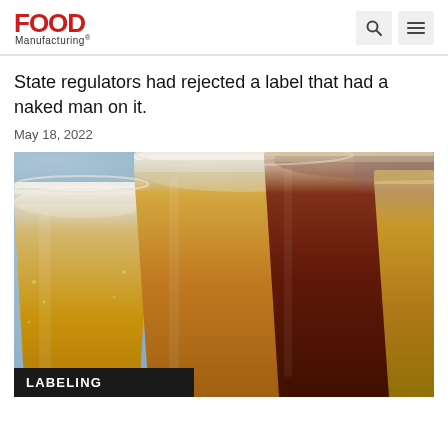FOOD Manufacturing
State regulators had rejected a label that had a naked man on it.
May 18, 2022
[Figure (photo): Close-up photograph of multiple glasses of beer in a row, showing various beer colors from light golden to dark brown amber, viewed from above at an angle. A black label bar at the bottom reads LABELING.]
LABELING